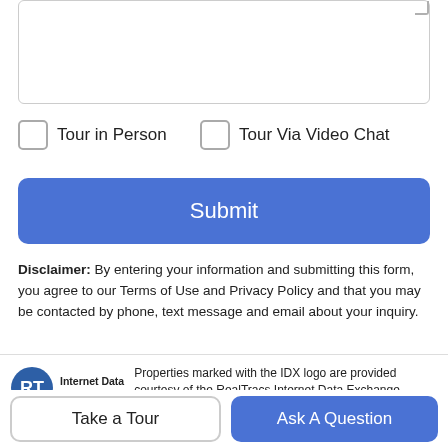[Figure (screenshot): Text area input box (partially visible at top)]
Tour in Person
Tour Via Video Chat
Submit
Disclaimer: By entering your information and submitting this form, you agree to our Terms of Use and Privacy Policy and that you may be contacted by phone, text message and email about your inquiry.
[Figure (logo): RealTracs Internet Data Exchange logo - RT circular emblem with Internet Data Exchange text]
Properties marked with the IDX logo are provided courtesy of the RealTracs Internet Data Exchange Program. Some or all of the listings may not belong to the firm whose website is being visited (Team Wilson
Take a Tour
Ask A Question